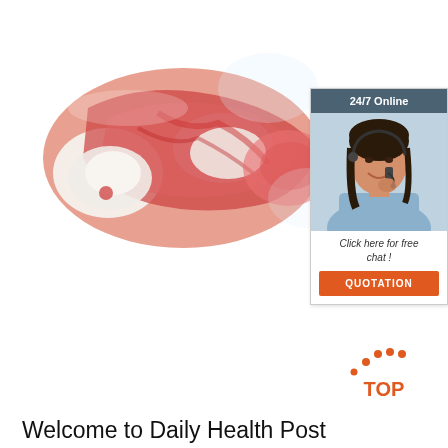[Figure (photo): Raw meat/bone with red flesh on white background]
[Figure (infographic): Advertisement box with '24/7 Online' header, woman with headset, 'Click here for free chat!' text, and orange QUOTATION button]
[Figure (logo): Orange TOP badge with dotted arc above and text TOP below]
Welcome to Daily Health Post